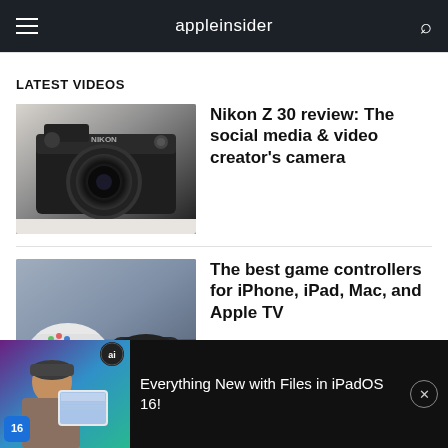appleinsider
LATEST VIDEOS
[Figure (photo): Nikon Z 30 mirrorless camera on a white surface]
Nikon Z 30 review: The social media & video creator's camera
[Figure (photo): Game controllers for iPhone including white and orange gamepads on a desk]
The best game controllers for iPhone, iPad, Mac, and Apple TV
[Figure (screenshot): Video thumbnail showing person holding iPad with iPadOS 16 Files app, with iOS 16 badge in corner]
Everything New with Files in iPadOS 16!